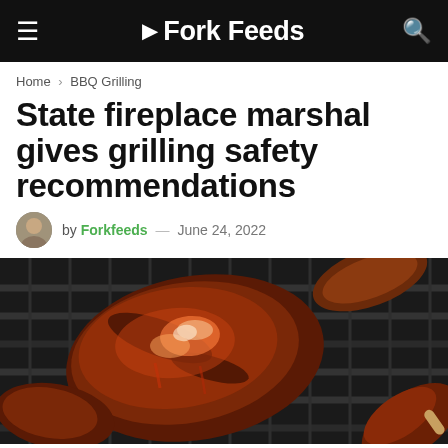Fork Feeds
Home > BBQ Grilling
State fireplace marshal gives grilling safety recommendations
by Forkfeeds — June 24, 2022
[Figure (photo): BBQ chicken pieces glazed with sauce cooking on a charcoal grill grate, close-up shot]